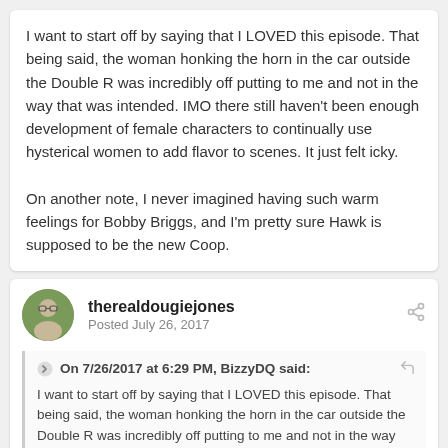I want to start off by saying that I LOVED this episode. That being said, the woman honking the horn in the car outside the Double R was incredibly off putting to me and not in the way that was intended. IMO there still haven't been enough development of female characters to continually use hysterical women to add flavor to scenes. It just felt icky.

On another note, I never imagined having such warm feelings for Bobby Briggs, and I'm pretty sure Hawk is supposed to be the new Coop.
therealdougiejones
Posted July 26, 2017
On 7/26/2017 at 6:29 PM, BizzyDQ said:
I want to start off by saying that I LOVED this episode. That being said, the woman honking the horn in the car outside the Double R was incredibly off putting to me and not in the way that was intended. IMO there still haven't been enough development of female characters to continually use hysterical women to add